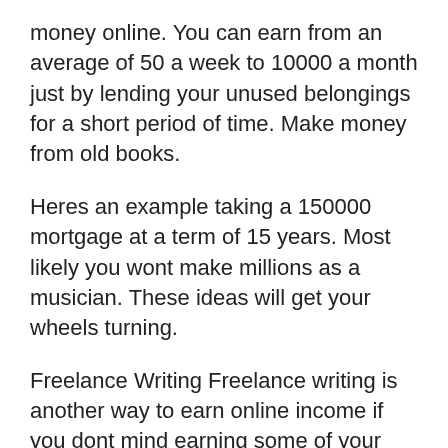money online. You can earn from an average of 50 a week to 10000 a month just by lending your unused belongings for a short period of time. Make money from old books.
Heres an example taking a 150000 mortgage at a term of 15 years. Most likely you wont make millions as a musician. These ideas will get your wheels turning.
Freelance Writing Freelance writing is another way to earn online income if you dont mind earning some of your money with active work. Get Paid good GPT Site to Earn Money and Rewards for Free Get Paid is a GPT Get Paid To PTC Paid to Click website formerly known as GPTreasure which offers its users various methods to earn money on the Internet such as viewing advertising doing small